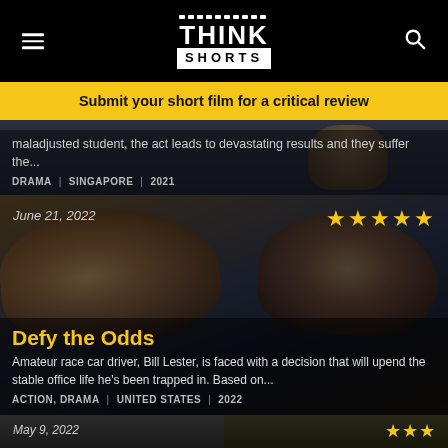Think Shorts — navigation header with menu and search icons
Submit your short film for a critical review
maladjusted student, the act leads to devastating results and they suffer the...
DRAMA | SINGAPORE | 2021
June 21, 2022
★★★★★
Defy the Odds
Amateur race car driver, Bill Lester, is faced with a decision that will upend the stable office life he's been trapped in. Based on...
ACTION, DRAMA | UNITED STATES | 2022
May 9, 2022
★★★